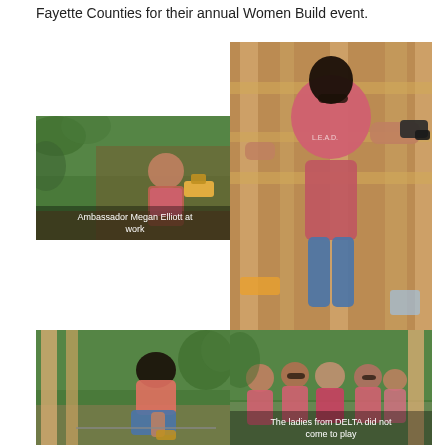Fayette Counties for their annual Women Build event.
[Figure (photo): Woman in pink shirt using a miter saw outdoors surrounded by greenery. Caption overlay reads 'Ambassador Megan Elliott at work'.]
[Figure (photo): Person in pink LEAD shirt from behind, holding a power drill, working on wooden framing structure.]
[Figure (photo): Person in pink shirt bending over working near wooden posts on a construction site outdoors.]
[Figure (photo): Group of women in pink shirts posing together on a construction site. Caption overlay reads 'The ladies from DELTA did not come to play'.]